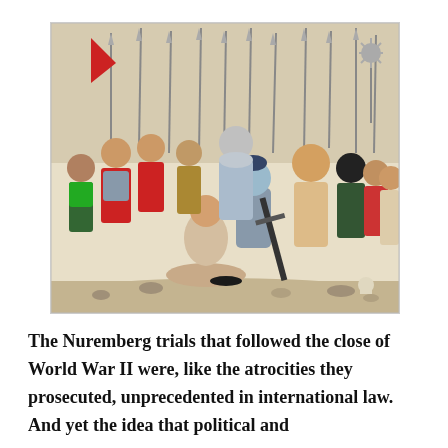[Figure (illustration): A historical illustration depicting a medieval or early modern execution or punishment scene. Soldiers in armor and red tunics carrying spears and flags surround a kneeling prisoner who is about to be struck by an executioner wielding a large sword. Other figures including officials and onlookers stand in the background.]
The Nuremberg trials that followed the close of World War II were, like the atrocities they prosecuted, unprecedented in international law. And yet the idea that political and